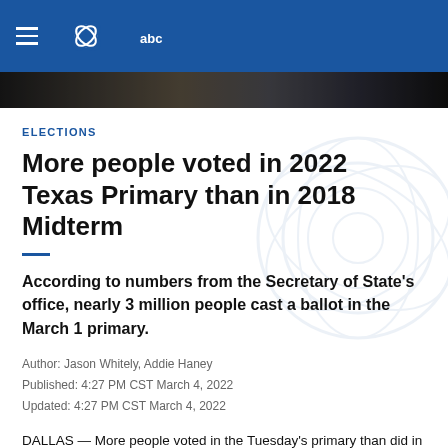WFAA abc (navigation header)
[Figure (photo): Dark banner image strip below navigation header]
ELECTIONS
More people voted in 2022 Texas Primary than in 2018 Midterm
According to numbers from the Secretary of State's office, nearly 3 million people cast a ballot in the March 1 primary.
Author: Jason Whitely, Addie Haney
Published: 4:27 PM CST March 4, 2022
Updated: 4:27 PM CST March 4, 2022
DALLAS — More people voted in the Tuesday's primary than did in the 2018 midterm, early state numbers shows.